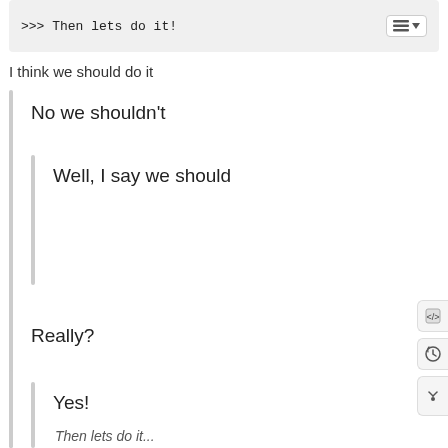>>> Then lets do it!
I think we should do it
No we shouldn't
Well, I say we should
Really?
Yes!